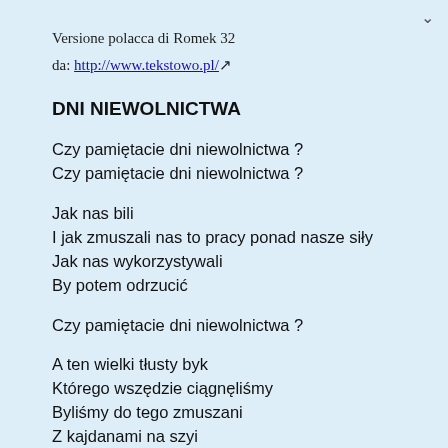Versione polacca di Romek 32
da: http://www.tekstowo.pl/
DNI NIEWOLNICTWA
Czy pamiętacie dni niewolnictwa ?
Czy pamiętacie dni niewolnictwa ?
Jak nas bili
I jak zmuszali nas to pracy ponad nasze siły
Jak nas wykorzystywali
By potem odrzucić
Czy pamiętacie dni niewolnictwa ?
A ten wielki tłusty byk
Którego wszędzie ciągnęliśmy
Byliśmy do tego zmuszani
Z kajdanami na szyi
Już tego więcej nie oglądam